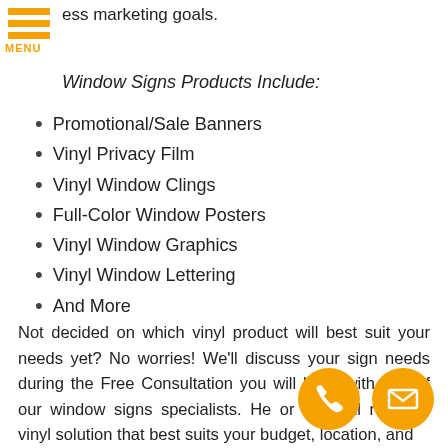ess marketing goals.
Window Signs Products Include:
Promotional/Sale Banners
Vinyl Privacy Film
Vinyl Window Clings
Full-Color Window Posters
Vinyl Window Graphics
Vinyl Window Lettering
And More
Not decided on which vinyl product will best suit your needs yet? No worries! We'll discuss your sign needs during the Free Consultation you will have with one of our window signs specialists. He or she will recommend a vinyl solution that best suits your budget, location, and